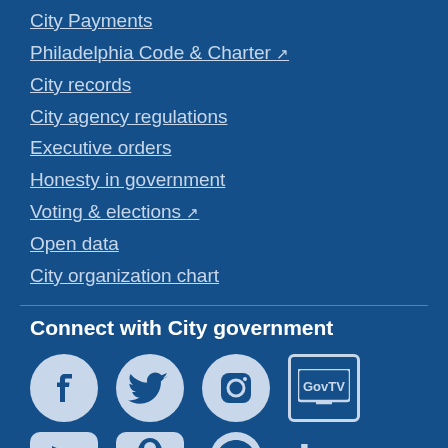City Payments
Philadelphia Code & Charter [external link]
City records
City agency regulations
Executive orders
Honesty in government
Voting & elections [external link]
Open data
City organization chart
Connect with City government
[Figure (illustration): Social media icons row 1: Facebook, Twitter, Instagram, GovTV]
[Figure (illustration): Social media icons row 2 (partially visible): YouTube/Next, Nextdoor, GitHub, LinkedIn]